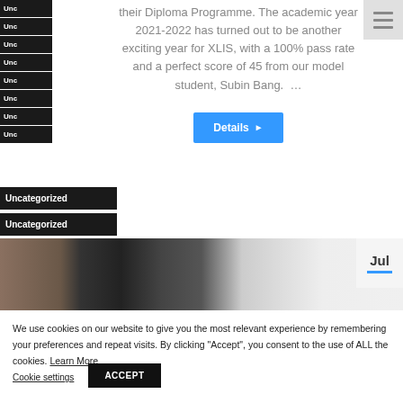Unc
Unc
Unc
Unc
Unc
Unc
Unc
Unc
Uncategorized
Uncategorized
their Diploma Programme. The academic year 2021-2022 has turned out to be another exciting year for XLIS, with a 100% pass rate and a perfect score of 45 from our model student, Subin Bang.  …
[Figure (screenshot): Blue 'Details' button with right arrow]
[Figure (photo): Interior school hallway photo with Jul date badge]
We use cookies on our website to give you the most relevant experience by remembering your preferences and repeat visits. By clicking "Accept", you consent to the use of ALL the cookies. Learn More
Cookie settings   ACCEPT